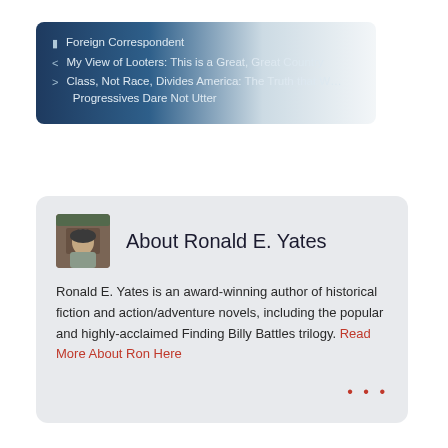Foreign Correspondent
My View of Looters: This is a Great, Great Country
Class, Not Race, Divides America: The Truth that Progressives Dare Not Utter
About Ronald E. Yates
Ronald E. Yates is an award-winning author of historical fiction and action/adventure novels, including the popular and highly-acclaimed Finding Billy Battles trilogy. Read More About Ron Here